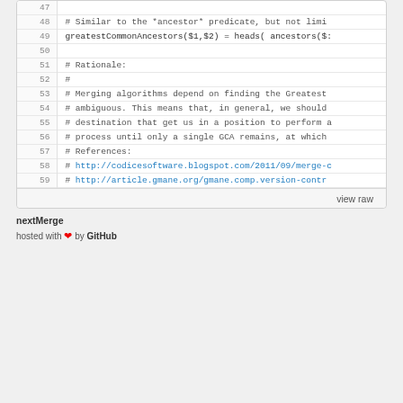[Figure (screenshot): Code viewer screenshot showing lines 47-59 of a source file with comments and code, followed by a footer bar with 'view raw' link and embed footer with filename 'nextMerge' and 'hosted with heart by GitHub']
view raw
nextMerge
hosted with ♥ by GitHub